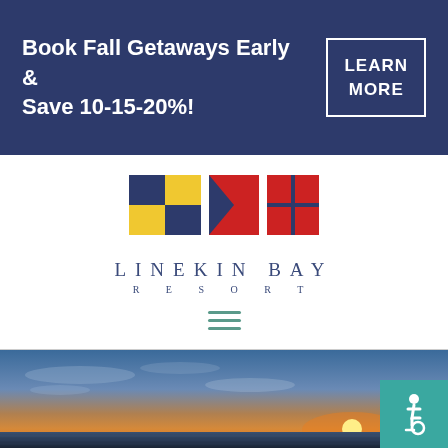Book Fall Getaways Early & Save 10-15-20%!
LEARN MORE
[Figure (logo): Linekin Bay Resort nautical flag logo with three squares in nautical flag pattern (yellow/navy, red/navy arrow, red grid pattern), with text LINEKIN BAY RESORT below]
[Figure (photo): Sunset over calm ocean water with dramatic orange and blue sky, sun setting on the horizon. Accessibility wheelchair symbol badge in bottom right corner.]